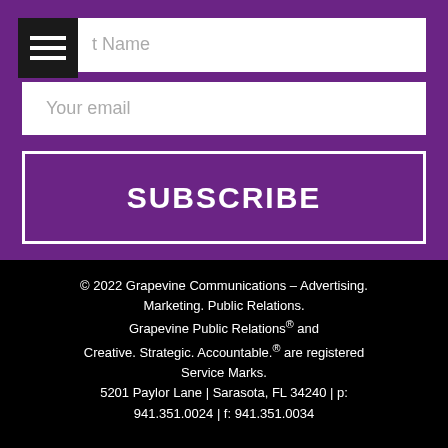[Figure (other): Purple subscribe form section with hamburger menu icon, First Name input field, Your email input field, and a SUBSCRIBE button with white border.]
© 2022 Grapevine Communications – Advertising. Marketing. Public Relations. Grapevine Public Relations® and Creative. Strategic. Accountable.® are registered Service Marks. 5201 Paylor Lane | Sarasota, FL 34240 | p: 941.351.0024 | f: 941.351.0034